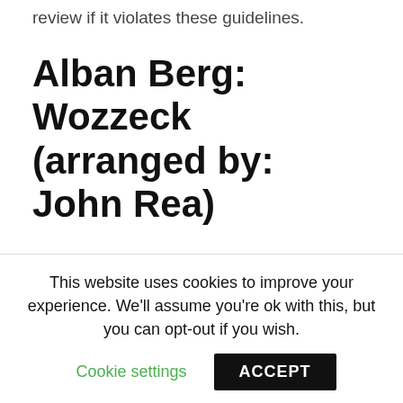review if it violates these guidelines.
Alban Berg: Wozzeck (arranged by: John Rea)
I agree with the other review; you feel guilty having wozzecm leave out so many notes! The score is also pricey and hard to come by for that reason.
CARBOXYMETHYL CELLULOSE MSDS PDF
[Figure (other): Broken image placeholder with alt text 'alban berg wozzeck score']
This website uses cookies to improve your experience. We'll assume you're ok with this, but you can opt-out if you wish.
Cookie settings
ACCEPT